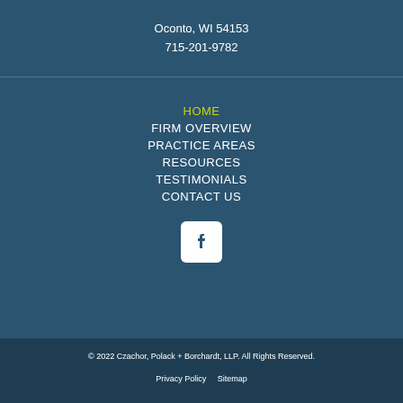Oconto, WI 54153
715-201-9782
HOME
FIRM OVERVIEW
PRACTICE AREAS
RESOURCES
TESTIMONIALS
CONTACT US
[Figure (logo): Facebook logo icon — white 'f' on white square with rounded corners]
© 2022 Czachor, Polack + Borchardt, LLP. All Rights Reserved.
Privacy Policy   Sitemap